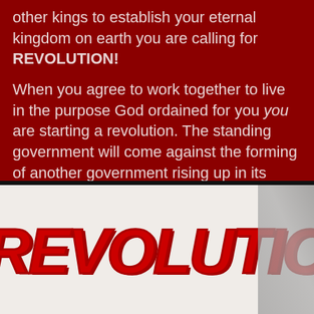other kings to establish your eternal kingdom on earth you are calling for REVOLUTION!
When you agree to work together to live in the purpose God ordained for you you are starting a revolution. The standing government will come against the forming of another government rising up in its territory. This current government will fight against a foreign power trying to establish itself in the earth. It is time for :
[Figure (photo): A photograph of someone spray-painting the word REVOLUTION in large red letters on a white surface. A hand holding a spray can is visible on the right side.]